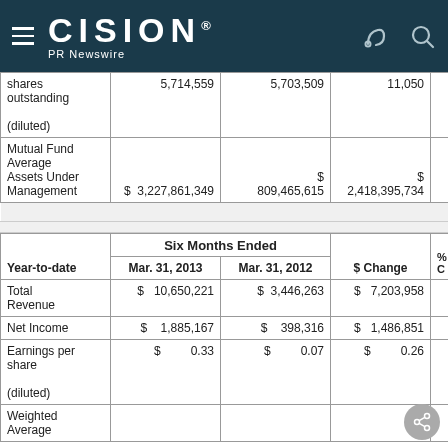CISION PR Newswire
|  | Mar. 31, 2013 | Mar. 31, 2012 | $ Change | % |
| --- | --- | --- | --- | --- |
| shares outstanding (diluted) | 5,714,559 | 5,703,509 | 11,050 |  |
| Mutual Fund Average Assets Under Management | $ 3,227,861,349 | $ 809,465,615 | $ 2,418,395,734 |  |
| Year-to-date | Six Months Ended Mar. 31, 2013 | Six Months Ended Mar. 31, 2012 | $ Change | % C |
| --- | --- | --- | --- | --- |
| Total Revenue | $ 10,650,221 | $ 3,446,263 | $ 7,203,958 |  |
| Net Income | $ 1,885,167 | $ 398,316 | $ 1,486,851 |  |
| Earnings per share (diluted) | $ 0.33 | $ 0.07 | $ 0.26 |  |
| Weighted Average |  |  |  |  |